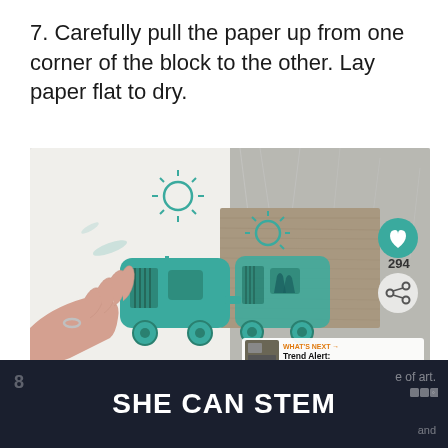7. Carefully pull the paper up from one corner of the block to the other. Lay paper flat to dry.
[Figure (photo): A hand pulling paper off a carved block print. The left half shows the white paper with a teal caravan/camper and sun print, and the right half shows the carved wooden block with teal ink. A heart button showing 294 saves and a share button are visible. A 'What's Next' overlay shows a thumbnail and text 'Trend Alert: Block Printi...']
SHE CAN STEM